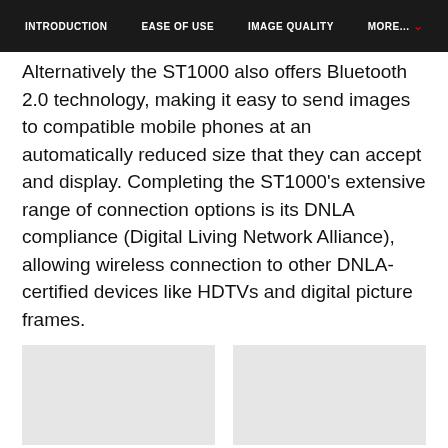INTRODUCTION   EASE OF USE   IMAGE QUALITY   MORE...
Alternatively the ST1000 also offers Bluetooth 2.0 technology, making it easy to send images to compatible mobile phones at an automatically reduced size that they can accept and display. Completing the ST1000's extensive range of connection options is its DNLA compliance (Digital Living Network Alliance), allowing wireless connection to other DNLA-certified devices like HDTVs and digital picture frames.
[Figure (photo): Two light gray placeholder image boxes side by side]